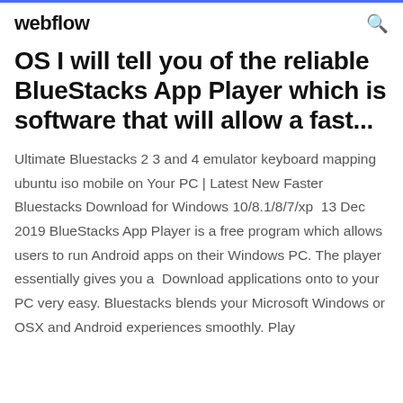webflow
OS I will tell you of the reliable BlueStacks App Player which is software that will allow a fast...
Ultimate Bluestacks 2 3 and 4 emulator keyboard mapping ubuntu iso mobile on Your PC | Latest New Faster Bluestacks Download for Windows 10/8.1/8/7/xp  13 Dec 2019 BlueStacks App Player is a free program which allows users to run Android apps on their Windows PC. The player essentially gives you a  Download applications onto to your PC very easy. Bluestacks blends your Microsoft Windows or OSX and Android experiences smoothly. Play